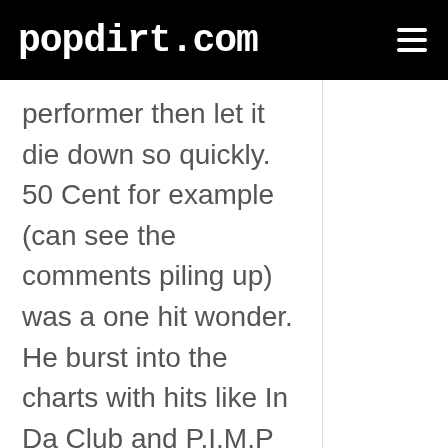popdirt.com
performer then let it die down so quickly. 50 Cent for example (can see the comments piling up) was a one hit wonder. He burst into the charts with hits like In Da Club and P.I.M.P and took the "music" world by storm. But where is he now? Who knows? How can people respect a Z (dare I say it) artist when the